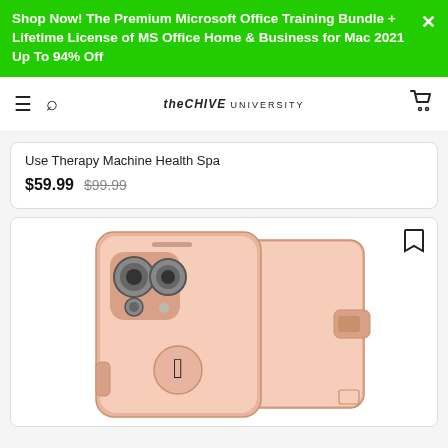Shop Now! The Premium Microsoft Office Training Bundle + Lifetime License of MS Office Home & Business for Mac 2021 Up To 94% Off
theChive University — navigation bar with hamburger, search, logo, and cart icons
Use Therapy Machine Health Spa
$59.99  $99.99
[Figure (photo): Rose gold iPhone wallet flip case showing front and back views with camera cutout, Apple logo cutout, and magnetic clasp]